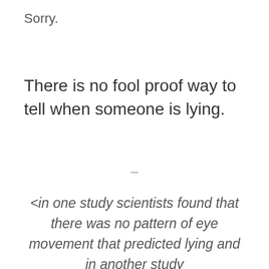Sorry.
There is no fool proof way to tell when someone is lying.
–
<in one study scientists found that there was no pattern of eye movement that predicted lying and in another study people were actually specifically asked to